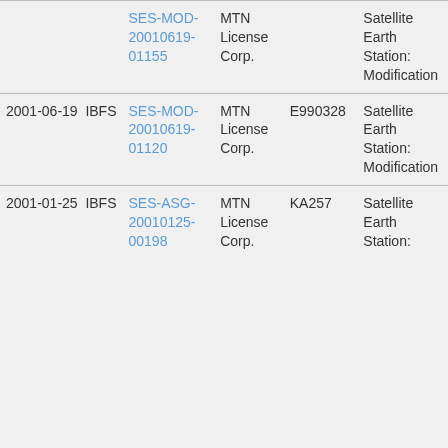| Date | Filing | Type | ID | Description |
| --- | --- | --- | --- | --- |
|  | SES-MOD-20010619-01155 | MTN License Corp. |  | Satellite Earth Station: Modification |
| 2001-06-19 | IBFS SES-MOD-20010619-01120 | MTN License Corp. | E990328 | Satellite Earth Station: Modification |
| 2001-01-25 | IBFS SES-ASG-20010125-00198 | MTN License Corp. | KA257 | Satellite Earth Station: |